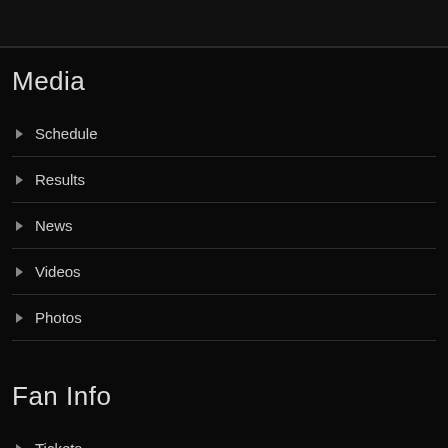Media
Schedule
Results
News
Videos
Photos
Fan Info
Tickets